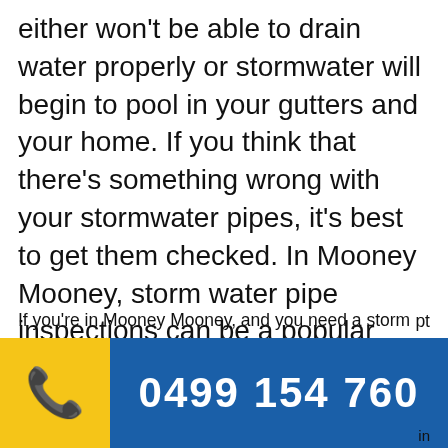either won't be able to drain water properly or stormwater will begin to pool in your gutters and your home. If you think that there's something wrong with your stormwater pipes, it's best to get them checked. In Mooney Mooney, storm water pipe inspections can be a popular service, especially after there's been a period of heavy rainfall.
If you're in Mooney Mooney, and you need a storm water pipe inspection, think Rustic Plumbing. Our team has years of experience in working on testing and inspections in commercial and residential settings, and pt
0499 154 760
in